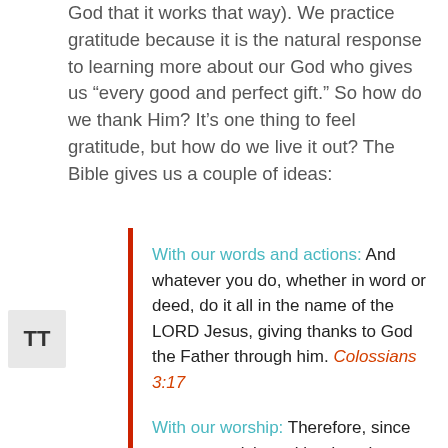God that it works that way). We practice gratitude because it is the natural response to learning more about our God who gives us “every good and perfect gift.” So how do we thank Him? It’s one thing to feel gratitude, but how do we live it out? The Bible gives us a couple of ideas:
With our words and actions: And whatever you do, whether in word or deed, do it all in the name of the LORD Jesus, giving thanks to God the Father through him. Colossians 3:17
With our worship: Therefore, since we are receiving a kingdom that cannot be shaken, let us be thankful, and so worship God acceptably with reverence and awe. Hebrews 12:28